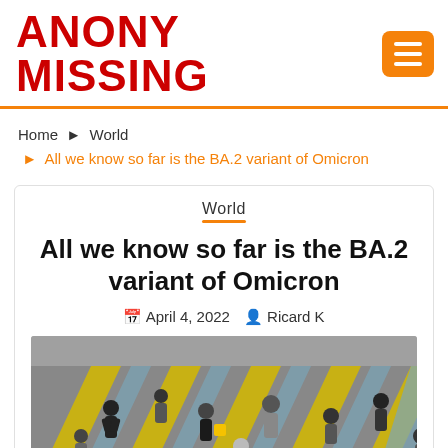ANONY MISSING
Home ▸ World ▸ All we know so far is the BA.2 variant of Omicron
World
All we know so far is the BA.2 variant of Omicron
April 4, 2022  Ricard K
[Figure (photo): Aerial view of people walking across a colorful crosswalk with yellow and blue chevron markings on a street.]